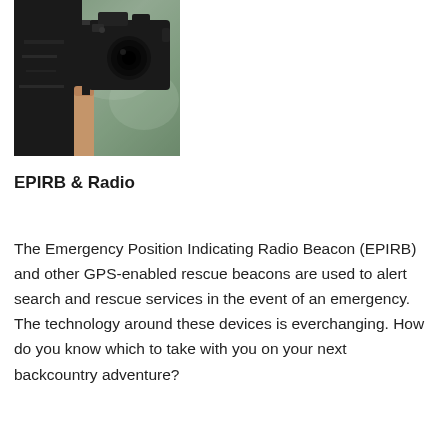[Figure (photo): A person wearing black ripped jeans holding a DSLR camera by its strap, photographed against a blurred green background. Only the lower torso, hand, and camera are visible.]
EPIRB & Radio
The Emergency Position Indicating Radio Beacon (EPIRB) and other GPS-enabled rescue beacons are used to alert search and rescue services in the event of an emergency. The technology around these devices is everchanging. How do you know which to take with you on your next backcountry adventure?